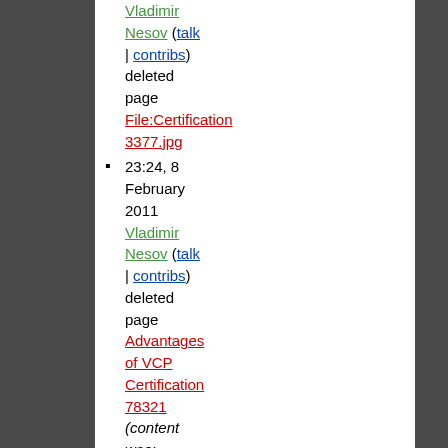Vladimir Nesov (talk | contribs) deleted page File:Certification 3377.jpg
23:24, 8 February 2011 Vladimir Nesov (talk | contribs) deleted page Advantages of VCP Certification 78321 (content was: "thumb| X-ray documentation